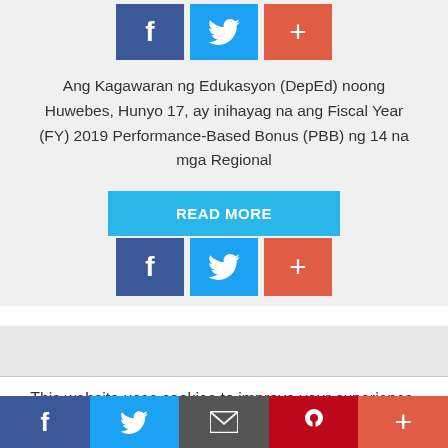[Figure (infographic): Social share buttons row: Facebook (blue), Twitter (light blue), Plus/Add (orange-red)]
Ang Kagawaran ng Edukasyon (DepEd) noong Huwebes, Hunyo 17, ay inihayag na ang Fiscal Year (FY) 2019 Performance-Based Bonus (PBB) ng 14 na mga Regional
[Figure (infographic): READ MORE button in light blue]
[Figure (infographic): Social share buttons row: Facebook (blue), Twitter (light blue), Plus/Add (orange-red)]
This website uses cookies to improve your experience. We'll assume you're ok with this, but you can opt-out if you wish.
[Figure (infographic): Bottom share bar with Facebook, Twitter, Mail, Pinterest, and Plus buttons]